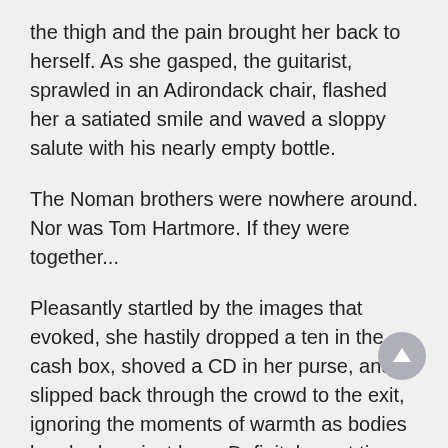the thigh and the pain brought her back to herself. As she gasped, the guitarist, sprawled in an Adirondack chair, flashed her a satiated smile and waved a sloppy salute with his nearly empty bottle.
The Noman brothers were nowhere around. Nor was Tom Hartmore. If they were together...
Pleasantly startled by the images that evoked, she hastily dropped a ten in the cash box, shoved a CD in her purse, and slipped back through the crowd to the exit, ignoring the moments of warmth as bodies brushed against hers. Definitely past time to leave.
Once outside, she took a deep breath. The